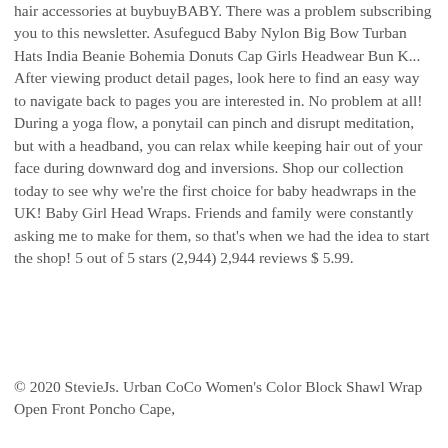hair accessories at buybuyBABY. There was a problem subscribing you to this newsletter. Asufegucd Baby Nylon Big Bow Turban Hats India Beanie Bohemia Donuts Cap Girls Headwear Bun K... After viewing product detail pages, look here to find an easy way to navigate back to pages you are interested in. No problem at all! During a yoga flow, a ponytail can pinch and disrupt meditation, but with a headband, you can relax while keeping hair out of your face during downward dog and inversions. Shop our collection today to see why we're the first choice for baby headwraps in the UK! Baby Girl Head Wraps. Friends and family were constantly asking me to make for them, so that's when we had the idea to start the shop! 5 out of 5 stars (2,944) 2,944 reviews $ 5.99.
© 2020 StevieJs. Urban CoCo Women's Color Block Shawl Wrap Open Front Poncho Cape,